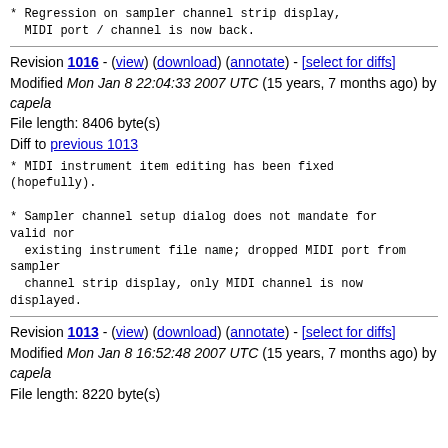* Regression on sampler channel strip display,
  MIDI port / channel is now back.
Revision 1016 - (view) (download) (annotate) - [select for diffs]
Modified Mon Jan 8 22:04:33 2007 UTC (15 years, 7 months ago) by capela
File length: 8406 byte(s)
Diff to previous 1013
* MIDI instrument item editing has been fixed
(hopefully).

* Sampler channel setup dialog does not mandate for valid nor
  existing instrument file name; dropped MIDI port from sampler
  channel strip display, only MIDI channel is now displayed.
Revision 1013 - (view) (download) (annotate) - [select for diffs]
Modified Mon Jan 8 16:52:48 2007 UTC (15 years, 7 months ago) by capela
File length: 8220 byte(s)